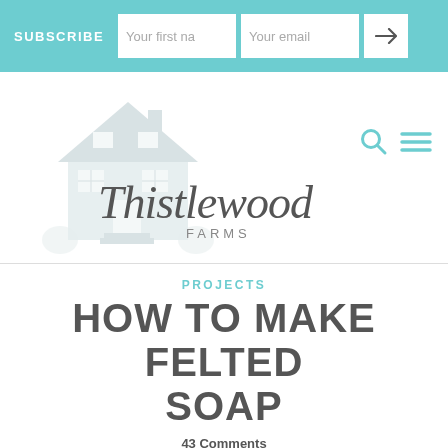SUBSCRIBE | Your first name | Your email | →
[Figure (logo): Thistlewood Farms logo with illustrated house and script/print text]
PROJECTS
HOW TO MAKE FELTED SOAP
43 Comments
How to make felted soap. This soap is a perfect gift for someone special. You can use simple bar soap and felt it with wool for a unique gift idea.